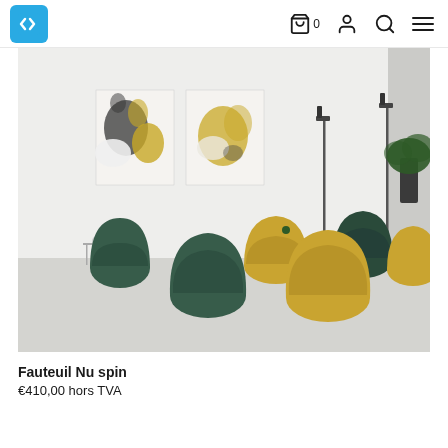in logo, cart 0, user, search, menu
[Figure (photo): Showroom scene with multiple armchairs in green and mustard yellow (Nu spin fauteuil), two abstract artworks on white wall, two floor lamps, and small side tables on a light concrete floor.]
Fauteuil Nu spin
€410,00 hors TVA